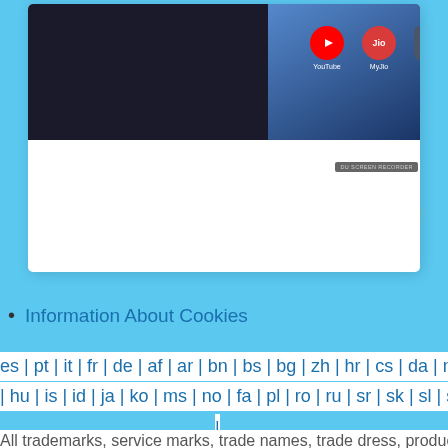[Figure (screenshot): Screenshot of a smartphone screen showing YouTube, MyJio, and Apps icons on a blue gradient background, with DU SCREEN RECORDER watermark. The screenshot is displayed within a white card on a light blue background with snowflake decorations.]
Information About Cookies
es | pt | it | fr | de | af | ar | bn | bs | bg | zh | hr | cs | da | nl | fi | el | he | hi
| hu | is | id | ja | ko | ms | no | fa | pl | ro | ru | sr | sk | sl | sv | tl | th | tr | vi
|
All trademarks, service marks, trade names, trade dress, product names and logos appearing on the site are the property of their respective owners.